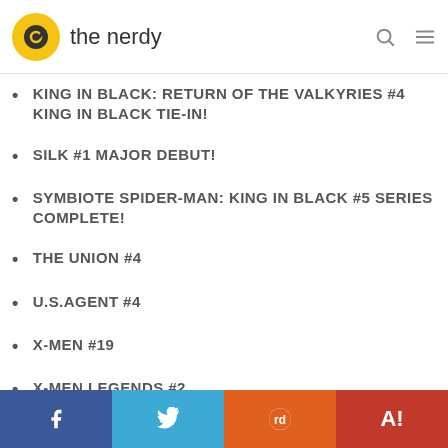the nerdy
KING IN BLACK: RETURN OF THE VALKYRIES #4 KING IN BLACK TIE-IN!
SILK #1 MAJOR DEBUT!
SYMBIOTE SPIDER-MAN: KING IN BLACK #5 SERIES COMPLETE!
THE UNION #4
U.S.AGENT #4
X-MEN #19
X-MEN LEGENDS #2
Week of July 12
AMAZING SPIDER-MAN #63
Facebook | Twitter | Reddit | Yahoo